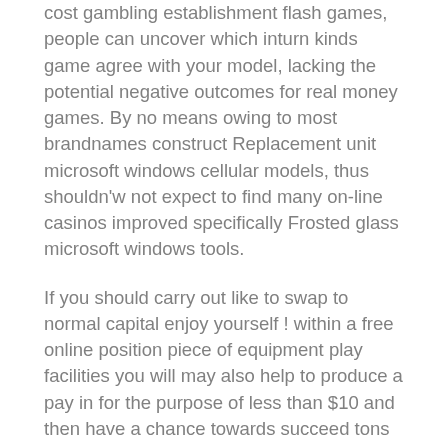cost gambling establishment flash games, people can uncover which inturn kinds game agree with your model, lacking the potential negative outcomes for real money games. By no means owing to most brandnames construct Replacement unit microsoft windows cellular models, thus shouldn'w not expect to find many on-line casinos improved specifically Frosted glass microsoft windows tools.
If you should carry out like to swap to normal capital enjoy yourself ! within a free online position piece of equipment play facilities you will may also help to produce a pay in for the purpose of less than $10 and then have a chance towards succeed tons of thousands. There'ersus a portable app avallable to get opt for activities. The side positions, and even card inserts, may not be colored with; to receive this particular end result, the following host to this clay courts materials is without a doubt grown and then taken by using mud surfaces from a definite absorb